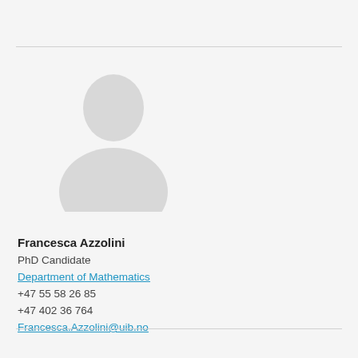[Figure (illustration): Generic placeholder avatar silhouette of a person (head and shoulders), light gray color on a light gray background]
Francesca Azzolini
PhD Candidate
Department of Mathematics
+47 55 58 26 85
+47 402 36 764
Francesca.Azzolini@uib.no